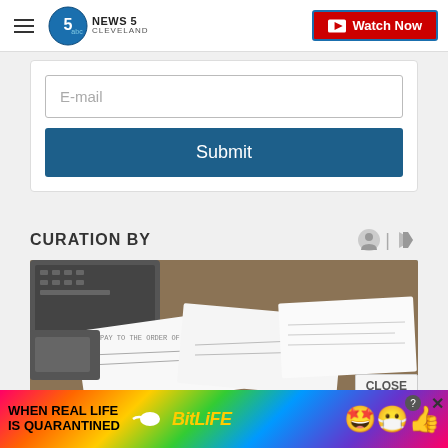NEWS 5 CLEVELAND | Watch Now
E-mail
Submit
CURATION BY
[Figure (photo): Checks and documents spread on a desk with a keyboard visible in the background]
CLOSE
[Figure (infographic): BitLife advertisement banner with rainbow background, text reading WHEN REAL LIFE IS QUARANTINED and BitLife logo with emoji characters]